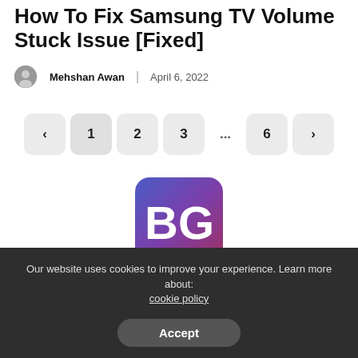How To Fix Samsung TV Volume Stuck Issue [Fixed]
Mehshan Awan | April 6, 2022
[Figure (other): Pagination navigation with buttons: previous arrow, 1, 2, 3, ..., 6, next arrow]
[Figure (logo): BG logo — white 'BG' letters on a purple/blue gradient rounded square background]
[Figure (other): Social media icons row: Facebook (purple), Twitter (blue), Pinterest (red), Instagram (purple), YouTube (red)]
Our website uses cookies to improve your experience. Learn more about: cookie policy
Accept